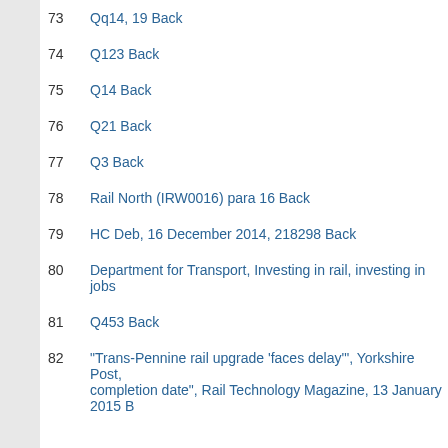73  Qq14, 19 Back
74  Q123 Back
75  Q14 Back
76  Q21 Back
77  Q3  Back
78  Rail North (IRW0016) para 16 Back
79  HC Deb, 16 December 2014, 218298 Back
80  Department for Transport, Investing in rail, investing in jobs
81  Q453 Back
82  "Trans-Pennine rail upgrade 'faces delay'", Yorkshire Post, completion date", Rail Technology Magazine, 13 January 2015 B